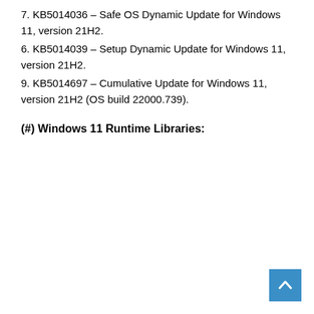7. KB5014036 – Safe OS Dynamic Update for Windows 11, version 21H2.
6. KB5014039 – Setup Dynamic Update for Windows 11, version 21H2.
9. KB5014697 – Cumulative Update for Windows 11, version 21H2 (OS build 22000.739).
(#) Windows 11 Runtime Libraries: